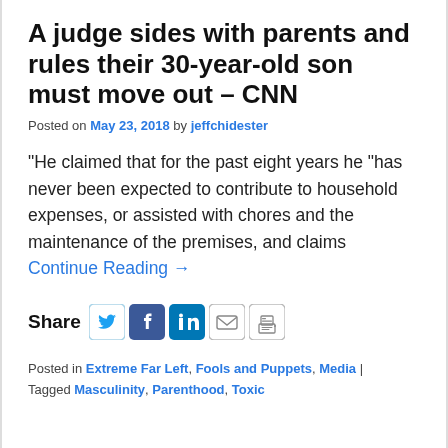A judge sides with parents and rules their 30-year-old son must move out – CNN
Posted on May 23, 2018 by jeffchidester
“He claimed that for the past eight years he “has never been expected to contribute to household expenses, or assisted with chores and the maintenance of the premises, and claims Continue Reading →
[Figure (other): Share buttons row: Twitter, Facebook, LinkedIn, Email, Print icons]
Posted in Extreme Far Left, Fools and Puppets, Media | Tagged Masculinity, Parenthood, Toxic